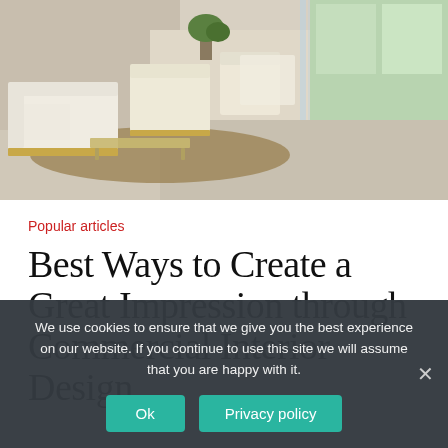[Figure (photo): Luxury commercial interior design space with white sofas, armchairs, natural fiber rug, marble/wood flooring, glass partitions, and lush greenery visible through large windows]
Popular articles
Best Ways to Create a Great Impression through Commercial Interior Design
We use cookies to ensure that we give you the best experience on our website. If you continue to use this site we will assume that you are happy with it.
Ok | Privacy policy